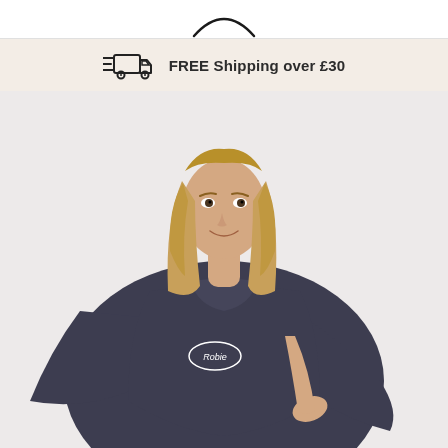Robie logo (partial arc visible)
FREE Shipping over £30
[Figure (photo): A smiling blonde woman wearing a dark navy/charcoal Robie branded towelling poncho/changing robe, photographed against a light grey background. The Robie logo is embroidered on the chest of the robe.]